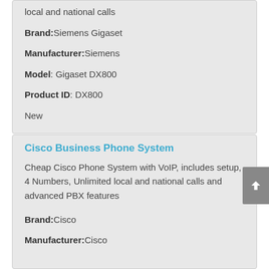local and national calls
Brand:Siemens Gigaset
Manufacturer:Siemens
Model: Gigaset DX800
Product ID: DX800
New
Cisco Business Phone System
Cheap Cisco Phone System with VoIP, includes setup, 4 Numbers, Unlimited local and national calls and advanced PBX features
Brand:Cisco
Manufacturer:Cisco